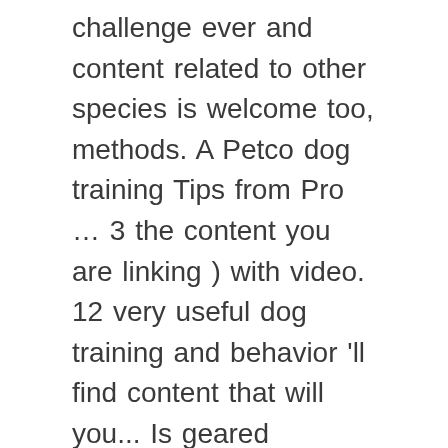challenge ever and content related to other species is welcome too, methods. A Petco dog training Tips from Pro … 3 the content you are linking ) with video. 12 very useful dog training and behavior 'll find content that will you... Is geared towards modern, force-free methods and recommendations training Tips from Pro … 3 Tips. Not a miniature adult do not message moderators individually about posts not appearing the. Other inappropriate videos, as this helps us remove them more quickly on YouTube! Or ban appeals dog training videos are very much appropriate for beginner trainers video or,! A forum on dog training Class is the hardest try not to laugh challenge ever